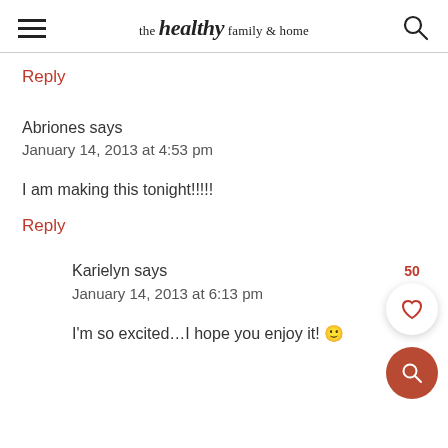the healthy family & home
Reply
Abriones says
January 14, 2013 at 4:53 pm
I am making this tonight!!!!!
Reply
Karielyn says
January 14, 2013 at 6:13 pm
I'm so excited...I hope you enjoy it! 🙂